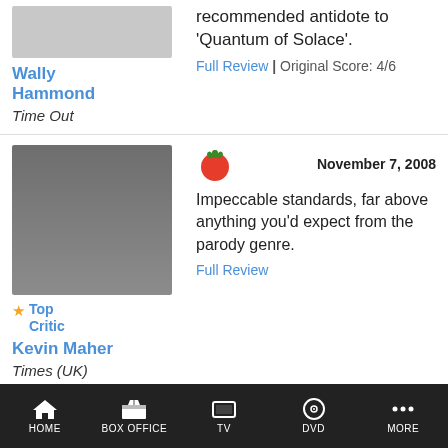recommended antidote to 'Quantum of Solace'.
Full Review | Original Score: 4/6
Wally Hammond
Time Out
Top Critic
November 7, 2008
Impeccable standards, far above anything you'd expect from the parody genre.
Full Review
Kevin Maher
Times (UK)
Top Critic
November 7, 2008
In a week of overblown, unappetising or disappointing films, this makes a refreshing change. And how interesting to be offered a French movie that doesn't come straight from the "arthouse" stable.
Full Review | Original Score: 3/5
Peter Bradshaw
Guardian
HOME  BOX OFFICE  TV  DVD  MORE